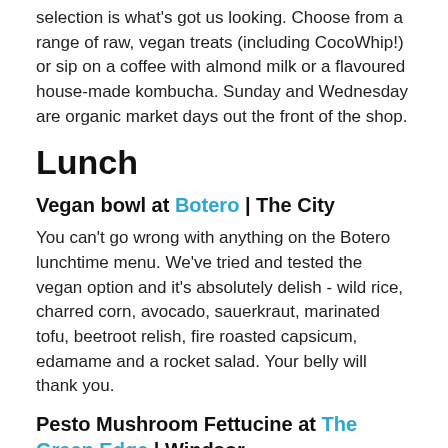selection is what's got us looking. Choose from a range of raw, vegan treats (including CocoWhip!) or sip on a coffee with almond milk or a flavoured house-made kombucha. Sunday and Wednesday are organic market days out the front of the shop.
Lunch
Vegan bowl at Botero | The City
You can't go wrong with anything on the Botero lunchtime menu. We've tried and tested the vegan option and it's absolutely delish - wild rice, charred corn, avocado, sauerkraut, marinated tofu, beetroot relish, fire roasted capsicum, edamame and a rocket salad. Your belly will thank you.
Pesto Mushroom Fettucine at The Green Edge | Windsor
Like everything on the vegan-friendly menu at The